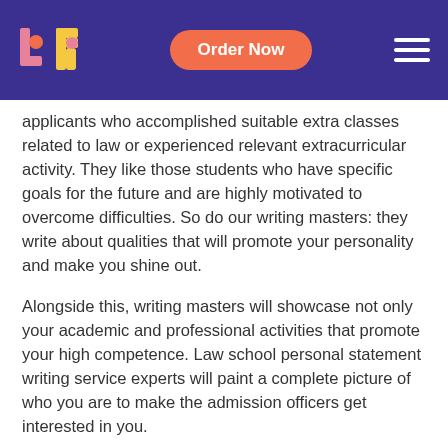Order Now
applicants who accomplished suitable extra classes related to law or experienced relevant extracurricular activity. They like those students who have specific goals for the future and are highly motivated to overcome difficulties. So do our writing masters: they write about qualities that will promote your personality and make you shine out.
Alongside this, writing masters will showcase not only your academic and professional activities that promote your high competence. Law school personal statement writing service experts will paint a complete picture of who you are to make the admission officers get interested in you.
Ask Us How To Write A